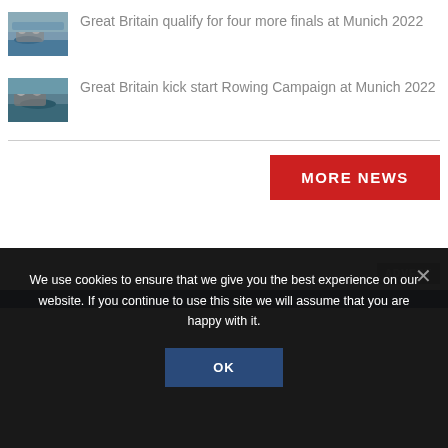[Figure (photo): Thumbnail image of rowers on water]
Great Britain qualify for four more finals at Munich 2022
[Figure (photo): Thumbnail image of rowers with helmets on water]
Great Britain kick start Rowing Campaign at Munich 2022
MORE NEWS
ADVERT
We use cookies to ensure that we give you the best experience on our website. If you continue to use this site we will assume that you are happy with it.
OK